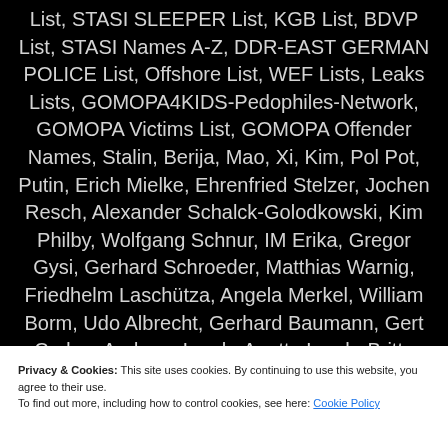List, STASI SLEEPER List, KGB List, BDVP List, STASI Names A-Z, DDR-EAST GERMAN POLICE List, Offshore List, WEF Lists, Leaks Lists, GOMOPA4KIDS-Pedophiles-Network, GOMOPA Victims List, GOMOPA Offender Names, Stalin, Berija, Mao, Xi, Kim, Pol Pot, Putin, Erich Mielke, Ehrenfried Stelzer, Jochen Resch, Alexander Schalck-Golodkowski, Kim Philby, Wolfgang Schnur, IM Erika, Gregor Gysi, Gerhard Schroeder, Matthias Warnig, Friedhelm Laschütza, Angela Merkel, William Borm, Udo Albrecht, Gerhard Baumann, Gert Caden, Andreas Lorch, Anette Lorch, Britta Lorch, Catrin Lorch, Hermann Simm,
Privacy & Cookies: This site uses cookies. By continuing to use this website, you agree to their use.
To find out more, including how to control cookies, see here: Cookie Policy
Close and accept
Lüneburg, Rainer Rupp, Christel & Günter